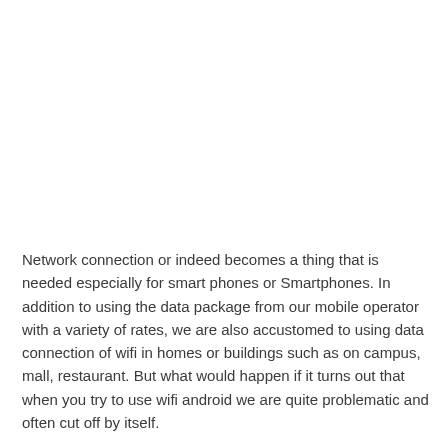Network connection or indeed becomes a thing that is needed especially for smart phones or Smartphones. In addition to using the data package from our mobile operator with a variety of rates, we are also accustomed to using data connection of wifi in homes or buildings such as on campus, mall, restaurant. But what would happen if it turns out that when you try to use wifi android we are quite problematic and often cut off by itself.